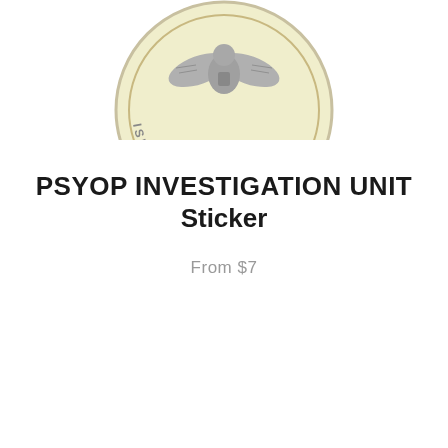[Figure (illustration): Partial circular seal/badge with cream/yellow background and grey text reading '2022' and partial text around the circumference. The top portion of the seal is visible, cropped at the top edge of the page.]
PSYOP INVESTIGATION UNIT Sticker
From $7